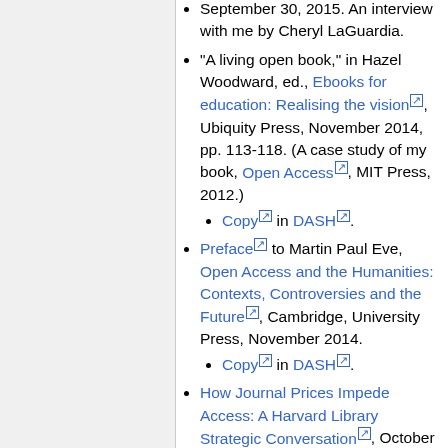September 30, 2015. An interview with me by Cheryl LaGuardia.
"A living open book," in Hazel Woodward, ed., Ebooks for education: Realising the vision, Ubiquity Press, November 2014, pp. 113-118. (A case study of my book, Open Access, MIT Press, 2012.) Copy in DASH.
Preface to Martin Paul Eve, Open Access and the Humanities: Contexts, Controversies and the Future, Cambridge, University Press, November 2014. Copy in DASH.
How Journal Prices Impede Access: A Harvard Library Strategic Conversation, October 3, 2014. My interview with Ted Bergstrom. There